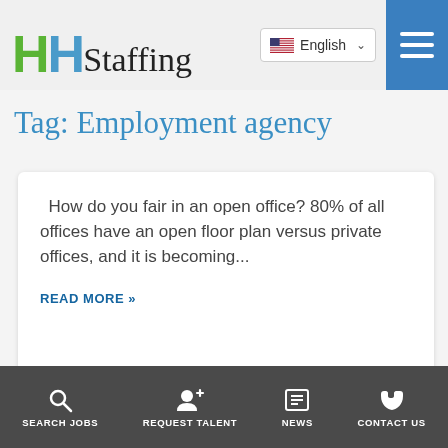[Figure (logo): HH Staffing logo with green H, blue H, and handwritten-style 'Staffing' text]
[Figure (screenshot): Language selector showing US flag and 'English' with dropdown arrow, and blue hamburger menu button]
Tag: Employment agency
How do you fair in an open office? 80% of all offices have an open floor plan versus private offices, and it is becoming...
READ MORE »
SEARCH JOBS   REQUEST TALENT   NEWS   CONTACT US